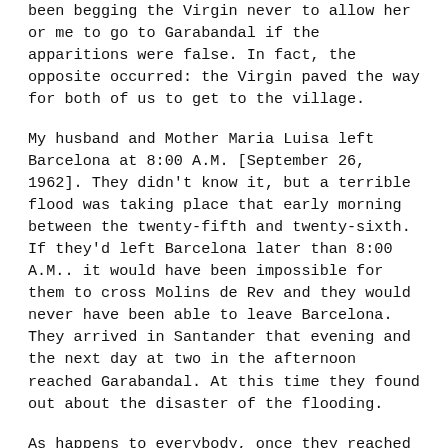been begging the Virgin never to allow her or me to go to Garabandal if the apparitions were false. In fact, the opposite occurred: the Virgin paved the way for both of us to get to the village.
My husband and Mother Maria Luisa left Barcelona at 8:00 A.M. [September 26, 1962]. They didn't know it, but a terrible flood was taking place that early morning between the twenty-fifth and twenty-sixth. If they'd left Barcelona later than 8:00 A.M.. it would have been impossible for them to cross Molins de Rev and they would never have been able to leave Barcelona. They arrived in Santander that evening and the next day at two in the afternoon reached Garabandal. At this time they found out about the disaster of the flooding.
As happens to everybody, once they reached the village the enthusiasm they'd felt beforehand faded away. The disorientation of the long trip, the tremendous contrast between Barcelona and Garabandal, meeting the girls in person, and the